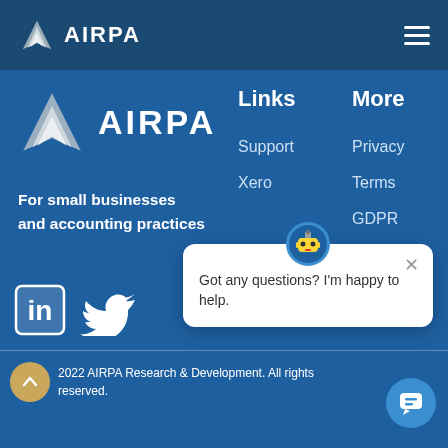AIRPA
[Figure (logo): AIRPA logo with white chevron/wing icon and AIRPA text in white on dark blue navigation bar]
[Figure (logo): AIRPA logo large version with white wing icon and AIRPA text on blue background]
For small businesses and accounting practices
Links
Support
Xero
More
Privacy
Terms
GDPR
[Figure (illustration): LinkedIn and Twitter social media icons in white]
[Figure (illustration): Chat popup with bot icon saying 'Got any questions? I'm happy to help.' with close X button]
2022 AIRPA Research & Development. All rights reserved.